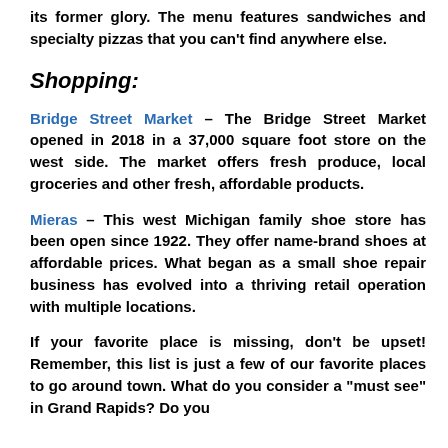its former glory. The menu features sandwiches and specialty pizzas that you can't find anywhere else.
Shopping:
Bridge Street Market – The Bridge Street Market opened in 2018 in a 37,000 square foot store on the west side. The market offers fresh produce, local groceries and other fresh, affordable products.
Mieras – This west Michigan family shoe store has been open since 1922. They offer name-brand shoes at affordable prices. What began as a small shoe repair business has evolved into a thriving retail operation with multiple locations.
If your favorite place is missing, don't be upset! Remember, this list is just a few of our favorite places to go around town. What do you consider a "must see" in Grand Rapids? Do you